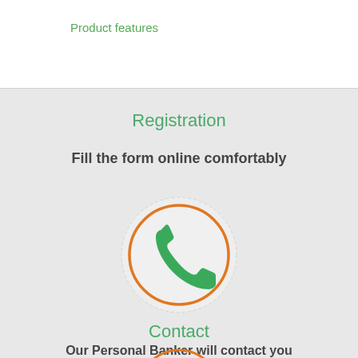Product features
Registration
Fill the form online comfortably
[Figure (illustration): Green telephone handset icon inside an orange circle on a light gray background]
Contact
Our Personal Banker will contact you